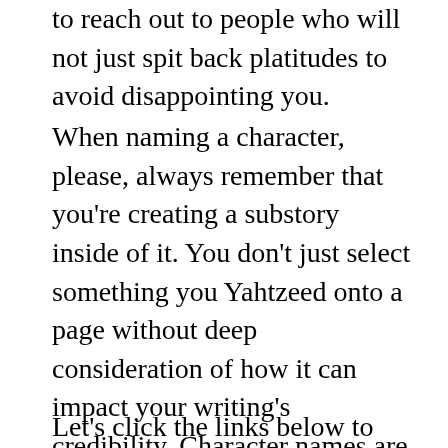to reach out to people who will not just spit back platitudes to avoid disappointing you.
When naming a character, please, always remember that you're creating a substory inside of it. You don't just select something you Yahtzeed onto a page without deep consideration of how it can impact your writing's credibility. Character names are usually the most memorable part of them. Like I said earlier, they're tiny treasure chests full of meaning.
Let's click the links below to find out what